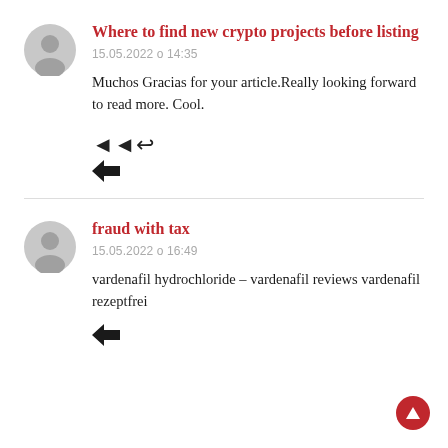Where to find new crypto projects before listing
15.05.2022 o 14:35
Muchos Gracias for your article.Really looking forward to read more. Cool.
fraud with tax
15.05.2022 o 16:49
vardenafil hydrochloride – vardenafil reviews vardenafil rezeptfrei